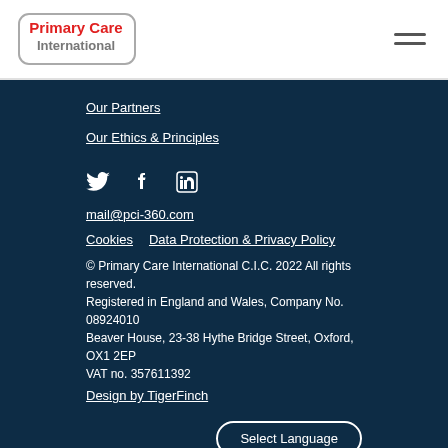[Figure (logo): Primary Care International logo with red and grey text and rounded rectangle border]
Our Partners
Our Ethics & Principles
[Figure (infographic): Social media icons: Twitter bird, Facebook f, LinkedIn in]
mail@pci-360.com
Cookies   Data Protection & Privacy Policy
© Primary Care International C.I.C. 2022 All rights reserved.
Registered in England and Wales, Company No. 08924010
Beaver House, 23-38 Hythe Bridge Street, Oxford, OX1 2EP
VAT no. 357611392
Design by TigerFinch
Select Language